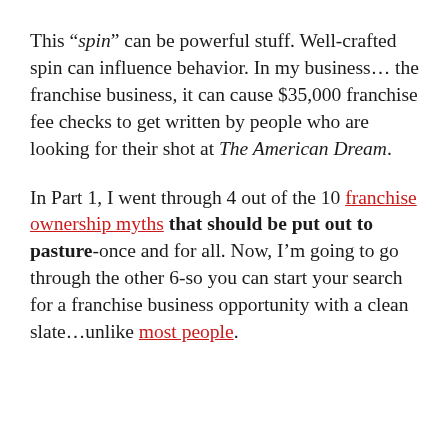This “spin” can be powerful stuff. Well-crafted spin can influence behavior. In my business… the franchise business, it can cause $35,000 franchise fee checks to get written by people who are looking for their shot at The American Dream.
In Part 1, I went through 4 out of the 10 franchise ownership myths that should be put out to pasture-once and for all. Now, I’m going to go through the other 6-so you can start your search for a franchise business opportunity with a clean slate…unlike most people.